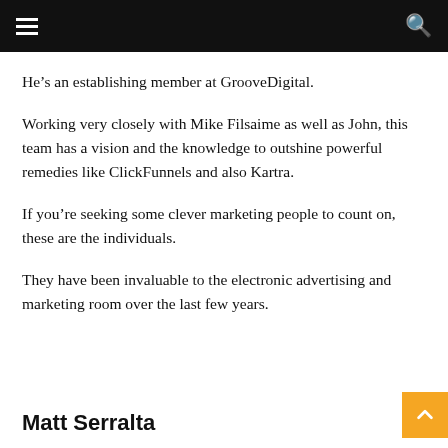He’s an establishing member at GrooveDigital.
Working very closely with Mike Filsaime as well as John, this team has a vision and the knowledge to outshine powerful remedies like ClickFunnels and also Kartra.
If you’re seeking some clever marketing people to count on, these are the individuals.
They have been invaluable to the electronic advertising and marketing room over the last few years.
Matt Serralta